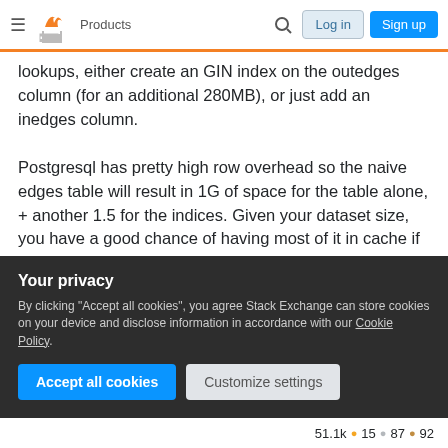Stack Exchange navigation bar with hamburger menu, logo, Products, search icon, Log in, Sign up
lookups, either create an GIN index on the outedges column (for an additional 280MB), or just add an inedges column.

Postgresql has pretty high row overhead so the naive edges table will result in 1G of space for the table alone, + another 1.5 for the indices. Given your dataset size, you have a good chance of having most of it in cache if you use integer arrays to store the relations. This will make any lookups blazingly fast. I see around 0.08ms lookup times to get edges in either direction for a given node. Even
Your privacy
By clicking "Accept all cookies", you agree Stack Exchange can store cookies on your device and disclose information in accordance with our Cookie Policy.
Accept all cookies
Customize settings
51.1k ● 15 ● 87 ● 92